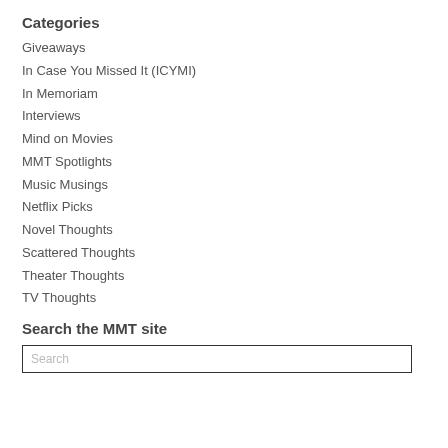Categories
Giveaways
In Case You Missed It (ICYMI)
In Memoriam
Interviews
Mind on Movies
MMT Spotlights
Music Musings
Netflix Picks
Novel Thoughts
Scattered Thoughts
Theater Thoughts
TV Thoughts
Search the MMT site
Search